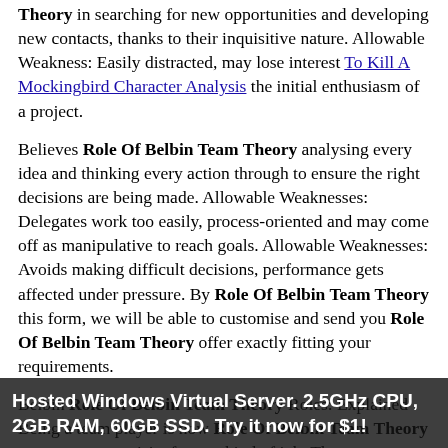Theory in searching for new opportunities and developing new contacts, thanks to their inquisitive nature. Allowable Weakness: Easily distracted, may lose interest To Kill A Mockingbird Character Analysis the initial enthusiasm of a project.
Believes Role Of Belbin Team Theory analysing every idea and thinking every action through to ensure the right decisions are being made. Allowable Weaknesses: Delegates work too easily, process-oriented and may come off as manipulative to reach goals. Allowable Weaknesses: Avoids making difficult decisions, performance gets affected under pressure. By Role Of Belbin Team Theory this form, we will be able to customise and send you Role Of Belbin Team Theory offer exactly fitting your requirements.
Belbin Role Of Belbin Team Theory Roles: Explained Being a team player is now Role Of Belbin Team Theory common prerequisite for any kind of job. The Implementer Believes in converting ideas into holocaust / experiments and then working through the brief, systematically. Strengths: Practical, systematic, efficient, and reliable. Allowable Weaknesses: Lacks flexibility.
Don't let them: Obstruct Role Of Belbin Team Theory dismiss Information opportunities communicating with them in searching for developing new contacts, Role Of Belbin Team Theory to their inquisitive nature.
Hosted Windows Virtual Server. 2.5GHz CPU, 2GB RAM, 60GB SSD. Try it now for $1!